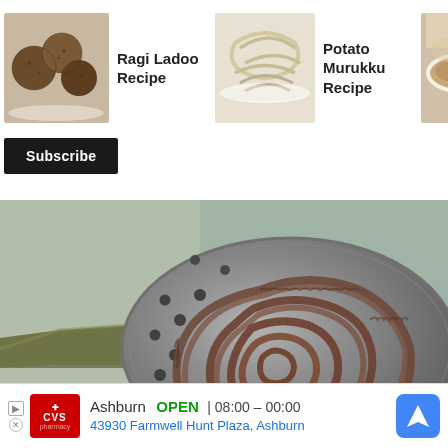[Figure (screenshot): Recipe card thumbnail for Ragi Ladoo Recipe - small food image on left with title text on right]
Ragi Ladoo Recipe
[Figure (screenshot): Recipe card thumbnail for Potato Murukku Recipe - noodle/murukku image on left with title text on right]
Potato Murukku Recipe
[Figure (screenshot): Recipe card thumbnail for Instant Ragi Cereal Recipe - partial/truncated card on right edge]
Instant Ragi Cereal Recipe
Subscribe
[Figure (photo): Close-up photo of ragi murukku (dark brown spiral fried snack) placed on top of a perforated metal skimmer/ladle on a light blue-green surface]
X
Ashburn  OPEN | 08:00 – 00:00  43930 Farmwell Hunt Plaza, Ashburn